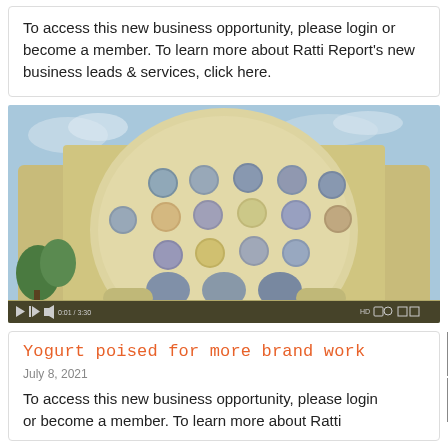To access this new business opportunity, please login or become a member. To learn more about Ratti Report's new business leads & services, click here.
[Figure (photo): Architectural rendering of a circular-facade building with round porthole-style windows, yellow/cream exterior, trees in foreground, video player controls at bottom]
Yogurt poised for more brand work
July 8, 2021
To access this new business opportunity, please login or become a member. To learn more about Ratti